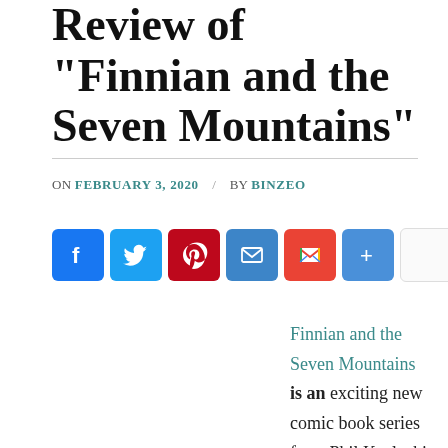Review of "Finnian and the Seven Mountains"
ON FEBRUARY 3, 2020 / BY BINZEO
[Figure (infographic): Social media share buttons: Facebook, Twitter, Pinterest, Email, Gmail, More (+), and one blank button]
Finnian and the Seven Mountains is an exciting new comic book series from Phil Kosloski and Michael LaVoy at Voyage Comics. Voyage